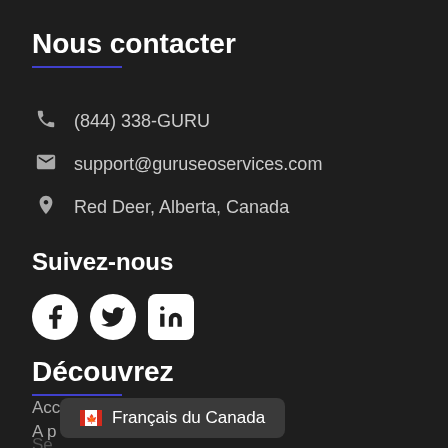Nous contacter
(844) 338-GURU
support@guruseoservices.com
Red Deer, Alberta, Canada
Suivez-nous
[Figure (illustration): Social media icons: Facebook, Twitter, LinkedIn]
Découvrez
Accueil
À p...
Se...
Français du Canada